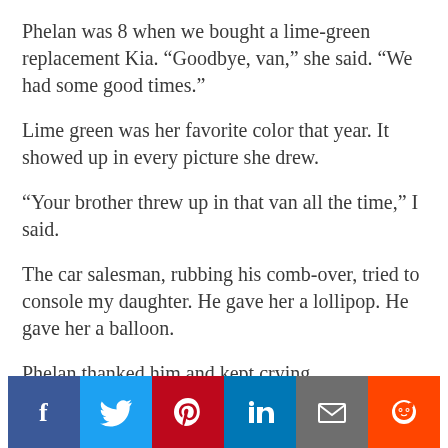Phelan was 8 when we bought a lime-green replacement Kia. “Goodbye, van,” she said. “We had some good times.”
Lime green was her favorite color that year. It showed up in every picture she drew.
“Your brother threw up in that van all the time,” I said.
The car salesman, rubbing his comb-over, tried to console my daughter. He gave her a lollipop. He gave her a balloon.
Phelan thanked him and kept crying.
“What’s wrong with that kid?” another salesman said
[Figure (other): Social share buttons: Facebook, Twitter, Pinterest, LinkedIn, Email, Reddit]